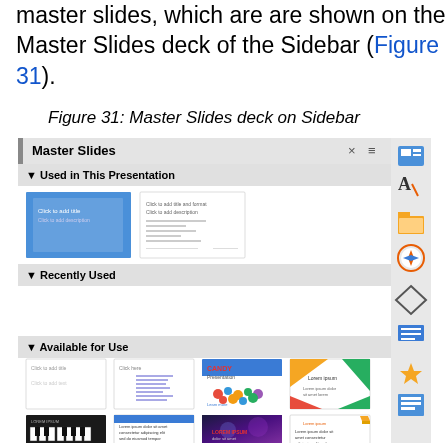master slides, which are are shown on the Master Slides deck of the Sidebar (Figure 31).
Figure 31: Master Slides deck on Sidebar
[Figure (screenshot): Screenshot of LibreOffice Impress Master Slides sidebar panel showing 'Used in This Presentation', 'Recently Used', and 'Available for Use' sections with thumbnail previews of slide templates. A vertical icon toolbar is visible on the right edge.]